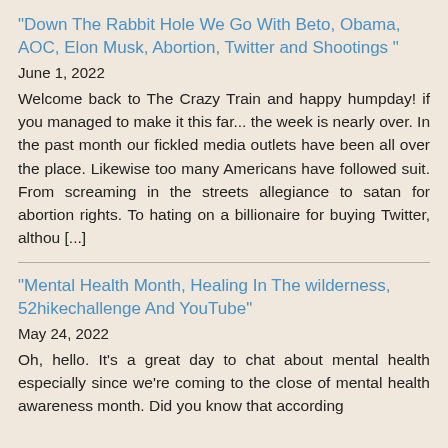"Down The Rabbit Hole We Go With Beto, Obama, AOC, Elon Musk, Abortion, Twitter and Shootings "
June 1, 2022
Welcome back to The Crazy Train and happy humpday! if you managed to make it this far... the week is nearly over. In the past month our fickled media outlets have been all over the place. Likewise too many Americans have followed suit. From screaming in the streets allegiance to satan for abortion rights. To hating on a billionaire for buying Twitter, althou [...]
"Mental Health Month, Healing In The wilderness, 52hikechallenge And YouTube"
May 24, 2022
Oh, hello. It's a great day to chat about mental health especially since we're coming to the close of mental health awareness month. Did you know that according